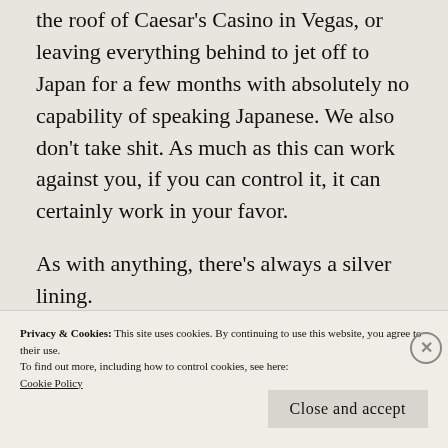the roof of Caesar's Casino in Vegas, or leaving everything behind to jet off to Japan for a few months with absolutely no capability of speaking Japanese. We also don't take shit. As much as this can work against you, if you can control it, it can certainly work in your favor.
As with anything, there's always a silver lining.
[Figure (photo): Partial photograph showing an outdoor scene with warm lighting, orange and green tones, and vertical text overlay on the right side.]
Privacy & Cookies: This site uses cookies. By continuing to use this website, you agree to their use.
To find out more, including how to control cookies, see here:
Cookie Policy
Close and accept